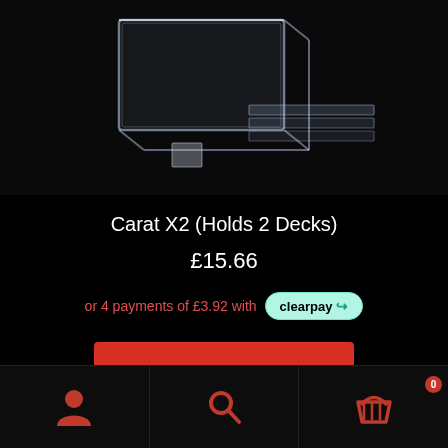[Figure (photo): Product photo of Carat X2 acrylic card deck holder — clear acrylic box with lid and separate acrylic stand pieces on dark background]
Carat X2 (Holds 2 Decks)
£15.66
or 4 payments of £3.92 with clearpay
Add to basket
User account | Search | Basket (0)